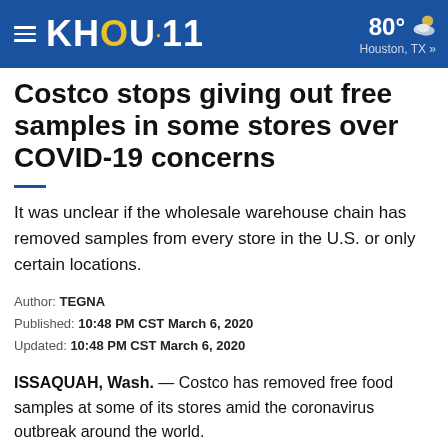KHOU 11 | 80° Houston, TX »
Costco stops giving out free samples in some stores over COVID-19 concerns
It was unclear if the wholesale warehouse chain has removed samples from every store in the U.S. or only certain locations.
Author: TEGNA
Published: 10:48 PM CST March 6, 2020
Updated: 10:48 PM CST March 6, 2020
ISSAQUAH, Wash. — Costco has removed free food samples at some of its stores amid the coronavirus outbreak around the world.
News outlets report that for hygienic purposes, Costco is